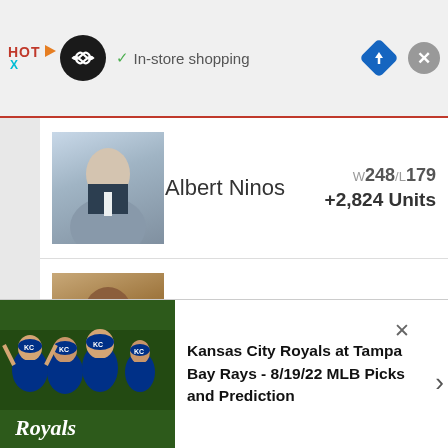[Figure (screenshot): Mobile browser UI bar showing HOT text, infinity logo circle, checkmark with 'In-store shopping' text, navigation diamond icon, and close X button]
Albert Ninos — W248/L179 — +2,824 Units
Tony Brown — W210/L170 — +2,154 Units
Dana Lane — W142/L119 — +1,619 Units
W47/L30 (partial row)
[Figure (screenshot): Bottom ad overlay showing Kansas City Royals players in dugout, with headline: Kansas City Royals at Tampa Bay Rays - 8/19/22 MLB Picks and Prediction]